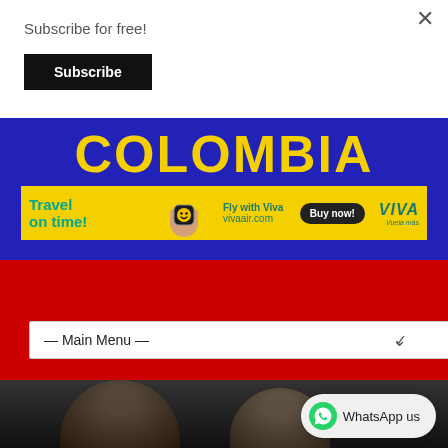Subscribe for free!
Subscribe
[Figure (screenshot): Colombia news website header with yellow COLOMBIA text on blue and red Colombian flag colors background, with a Viva Air advertisement banner below]
[Figure (screenshot): Main Menu dropdown navigation bar on red background]
[Figure (photo): Two men in suits in a dark setting, with a WhatsApp us chat bubble in the bottom right corner]